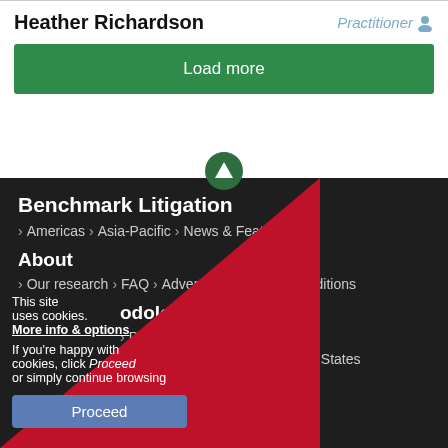Heather Richardson
Practitioner
Load more
Benchmark Litigation
> Americas > Asia-Pacific > News & Features
About
> Our research > FAQ > Advertising Terms & Conditions
odology
> Pacific > Canada > Europe
> Employment > LATAM > United States
This site uses cookies. More info & options
If you're happy with cookies, click Proceed or simply continue browsing
Proceed
in us on LinkedIn